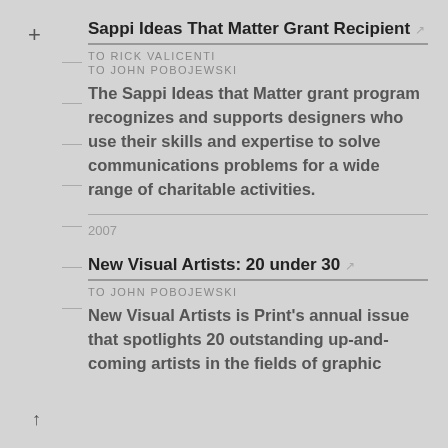Sappi Ideas That Matter Grant Recipient
TO RICK VALICENTI
TO JOHN POBOJEWSKI
The Sappi Ideas that Matter grant program recognizes and supports designers who use their skills and expertise to solve communications problems for a wide range of charitable activities.
2007
New Visual Artists: 20 under 30
TO JOHN POBOJEWSKI
New Visual Artists is Print's annual issue that spotlights 20 outstanding up-and-coming artists in the fields of graphic